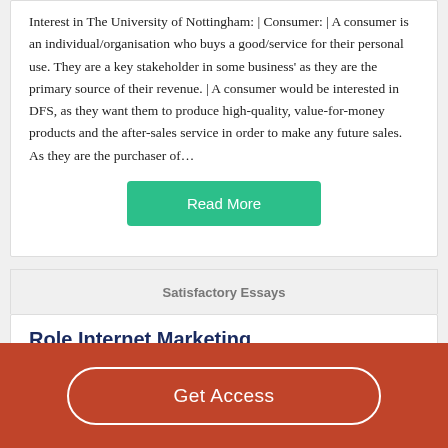Interest in The University of Nottingham: | Consumer: | A consumer is an individual/organisation who buys a good/service for their personal use. They are a key stakeholder in some business' as they are the primary source of their revenue. | A consumer would be interested in DFS, as they want them to produce high-quality, value-for-money products and the after-sales service in order to make any future sales. As they are the purchaser of…
Read More
Satisfactory Essays
Role Internet Marketing
Get Access